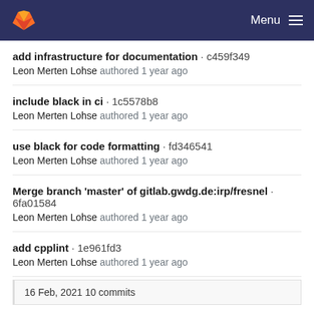GitLab Menu
add infrastructure for documentation · c459f349
Leon Merten Lohse authored 1 year ago
include black in ci · 1c5578b8
Leon Merten Lohse authored 1 year ago
use black for code formatting · fd346541
Leon Merten Lohse authored 1 year ago
Merge branch 'master' of gitlab.gwdg.de:irp/fresnel · 6fa01584
Leon Merten Lohse authored 1 year ago
add cpplint · 1e961fd3
Leon Merten Lohse authored 1 year ago
16 Feb, 2021 10 commits
Add LICENSE · cdd9c8ef